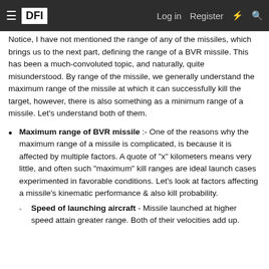≡ DFI   Log in   Register   ⚡   🔍
Notice, I have not mentioned the range of any of the missiles, which brings us to the next part, defining the range of a BVR missile. This has been a much-convoluted topic, and naturally, quite misunderstood. By range of the missile, we generally understand the maximum range of the missile at which it can successfully kill the target, however, there is also something as a minimum range of a missile. Let's understand both of them.
Maximum range of BVR missile :- One of the reasons why the maximum range of a missile is complicated, is because it is affected by multiple factors. A quote of "x" kilometers means very little, and often such "maximum" kill ranges are ideal launch cases experimented in favorable conditions. Let's look at factors affecting a missile's kinematic performance & also kill probability.
Speed of launching aircraft - Missile launched at higher speed attain greater range. Both of their velocities add up.